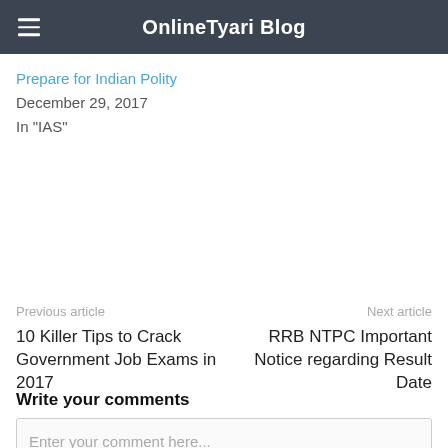OnlineTyari Blog
Prepare for Indian Polity
December 29, 2017
In "IAS"
Previous article
10 Killer Tips to Crack Government Job Exams in 2017
Next article
RRB NTPC Important Notice regarding Result Date
Write your comments
Enter your comment here...